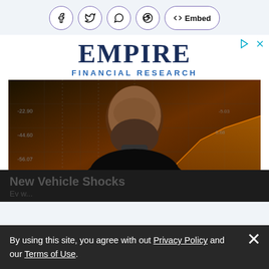[Figure (other): Social share buttons: Facebook, Twitter, WhatsApp, Reddit, and an Embed button with share icon]
[Figure (photo): Empire Financial Research advertisement featuring a bearded man in front of a financial data background with stock chart graphics]
By using this site, you agree with out Privacy Policy and our Terms of Use.
New Vehicle Shocks